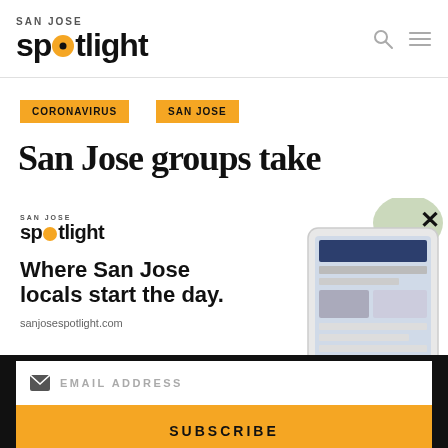SAN JOSE spotlight
CORONAVIRUS
SAN JOSE
San Jose groups take
[Figure (screenshot): San Jose Spotlight advertisement overlay showing logo, tagline 'Where San Jose locals start the day.' and sanjosespotlight.com with a tablet image on the right]
EMAIL ADDRESS
SUBSCRIBE
Thanks, I'm not interested or already a subscriber